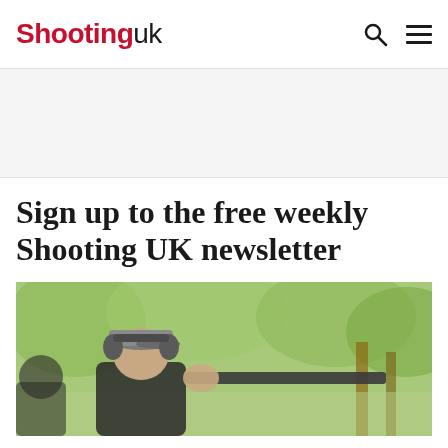Shooting UK
Sign up to the free weekly Shooting UK newsletter
[Figure (photo): Person wearing a grey cap and hearing protection, aiming a gun outdoors in a wooded area with green foliage in the background]